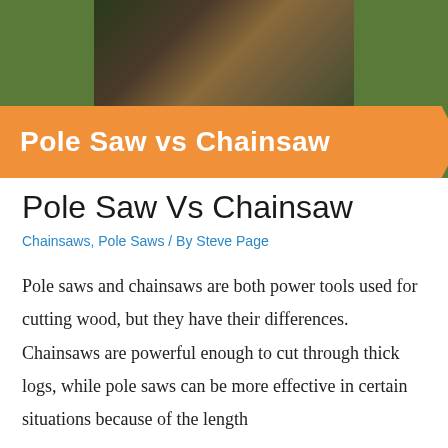[Figure (photo): Banner image showing a person with a chainsaw or pole saw among foliage, overlaid with a dark green background and an orange ribbon banner reading 'Pole Saw vs Chainsaw']
Pole Saw Vs Chainsaw
Chainsaws, Pole Saws / By Steve Page
Pole saws and chainsaws are both power tools used for cutting wood, but they have their differences. Chainsaws are powerful enough to cut through thick logs, while pole saws can be more effective in certain situations because of the length